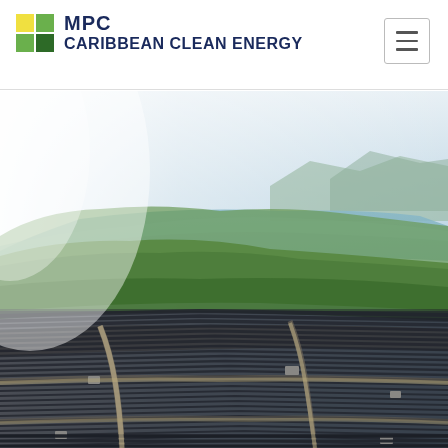MPC CARIBBEAN CLEAN ENERGY
[Figure (photo): Aerial view of a large solar panel farm with lush green hills, a bay or lake, and mountains in the background under a hazy sky]